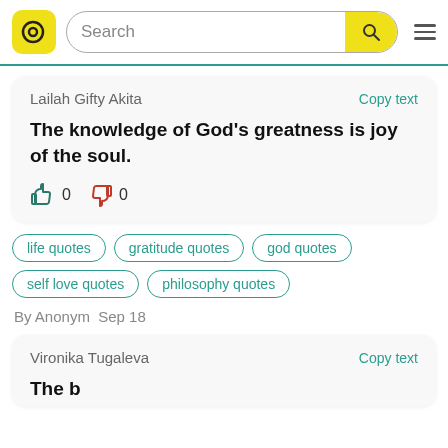Search bar with logo and hamburger menu
Lailah Gifty Akita
Copy text
The knowledge of God’s greatness is joy of the soul.
0  0
life quotes
gratitude quotes
god quotes
self love quotes
philosophy quotes
By Anonym  Sep 18
Vironika Tugaleva
Copy text